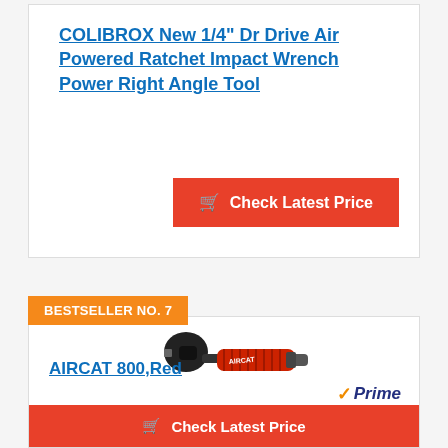COLIBROX New 1/4" Dr Drive Air Powered Ratchet Impact Wrench Power Right Angle Tool
Check Latest Price
BESTSELLER NO. 7
[Figure (photo): Red AIRCAT 800 air ratchet wrench on white background]
AIRCAT 800,Red
Prime
Check Latest Price